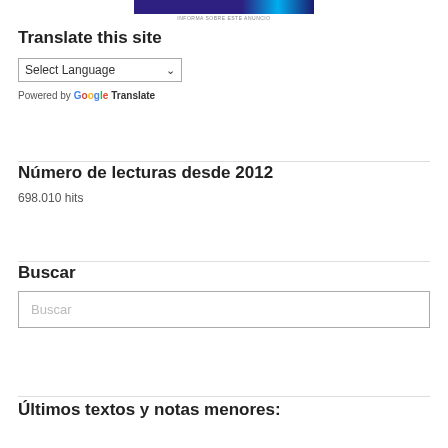[Figure (other): Advertisement banner with purple and blue gradient background and small caption text 'INFORMA SOBRE ESTE ANUNCIO']
Translate this site
Select Language
Powered by Google Translate
Número de lecturas desde 2012
698.010 hits
Buscar
Buscar
Últimos textos y notas menores: